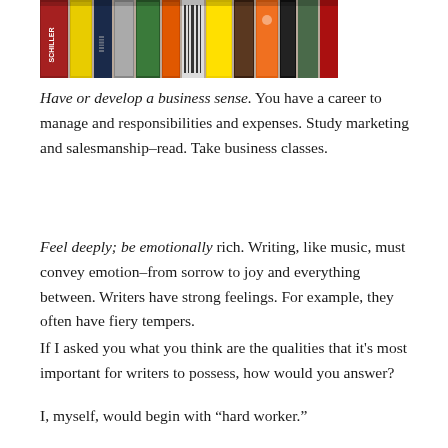[Figure (photo): A photo of a row of colorful books on a shelf, seen from above or angled, with visible spines in red, yellow, and other colors.]
Have or develop a business sense. You have a career to manage and responsibilities and expenses. Study marketing and salesmanship–read. Take business classes.
Feel deeply; be emotionally rich. Writing, like music, must convey emotion–from sorrow to joy and everything between. Writers have strong feelings. For example, they often have fiery tempers.
If I asked you what you think are the qualities that it's most important for writers to possess, how would you answer?
I, myself, would begin with “hard worker.”